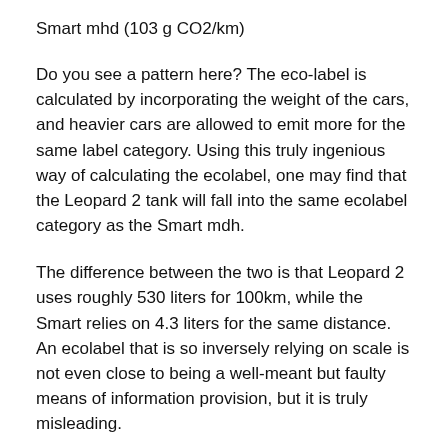Smart mhd (103 g CO2/km)
Do you see a pattern here? The eco-label is calculated by incorporating the weight of the cars, and heavier cars are allowed to emit more for the same label category. Using this truly ingenious way of calculating the ecolabel, one may find that the Leopard 2 tank will fall into the same ecolabel category as the Smart mdh.
The difference between the two is that Leopard 2 uses roughly 530 liters for 100km, while the Smart relies on 4.3 liters for the same distance. An ecolabel that is so inversely relying on scale is not even close to being a well-meant but faulty means of information provision, but it is truly misleading.